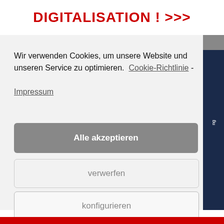DIGITALISATION ! >>>
Wir verwenden Cookies, um unsere Website und unseren Service zu optimieren.  Cookie-Richtlinie - Impressum
Alle akzeptieren
verwerfen
konfigurieren